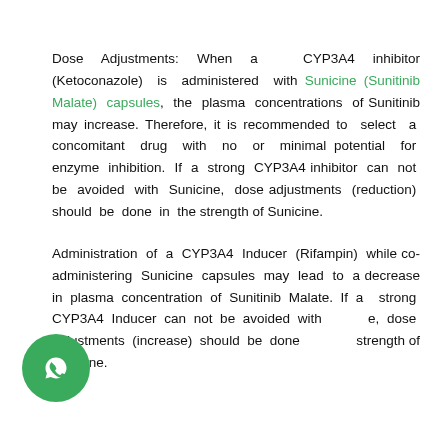Dose Adjustments: When a CYP3A4 inhibitor (Ketoconazole) is administered with Sunicine (Sunitinib Malate) capsules, the plasma concentrations of Sunitinib may increase. Therefore, it is recommended to select a concomitant drug with no or minimal potential for enzyme inhibition. If a strong CYP3A4 inhibitor can not be avoided with Sunicine, dose adjustments (reduction) should be done in the strength of Sunicine.
Administration of a CYP3A4 Inducer (Rifampin) while co-administering Sunicine capsules may lead to a decrease in plasma concentration of Sunitinib Malate. If a strong CYP3A4 Inducer can not be avoided with Sunicine, dose adjustments (increase) should be done in the strength of Sunicine.
[Figure (illustration): WhatsApp contact button — circular green icon with white WhatsApp logo, positioned bottom-left]